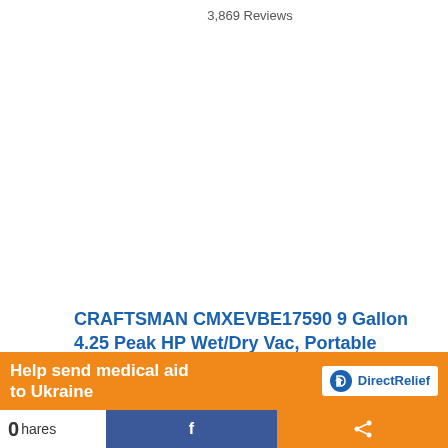3,869 Reviews
CRAFTSMAN CMXEVBE17590 9 Gallon 4.25 Peak HP Wet/Dry Vac, Portable Shop Vacuum with Attachments , Red
VERSATILE: Ideal for medium-sized jobs around...
[Figure (infographic): Orange banner advertisement reading 'Help send medical aid to Ukraine' with Direct Relief logo, over a social sharing bar with 0 shares, Facebook button, and share button.]